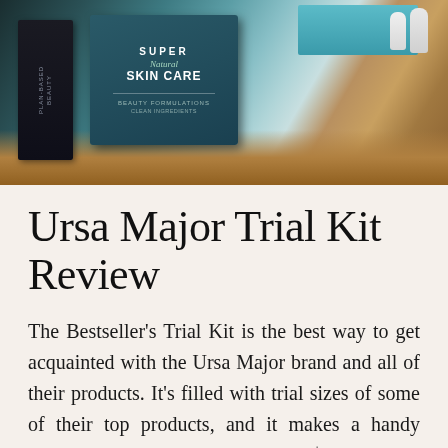[Figure (photo): A cardboard box containing Ursa Major skincare products and a book titled 'Super Natural Skin Care' with teal/blue color scheme, photographed from above on a white surface]
Ursa Major Trial Kit Review
The Bestseller's Trial Kit is the best way to get acquainted with the Ursa Major brand and all of their products. It's filled with trial sizes of some of their top products, and it makes a handy travel skin care kit! The kit is only $25, which is well worth it to try out the products.